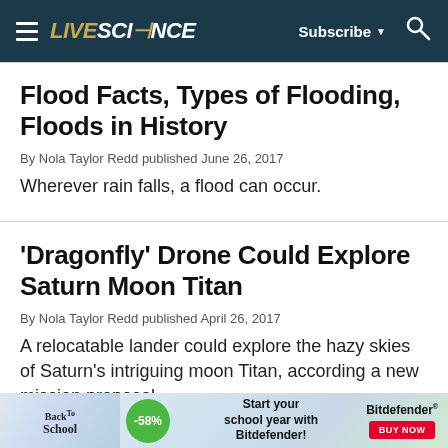LIVESCIENCE – Subscribe – Search
Flood Facts, Types of Flooding, Floods in History
By Nola Taylor Redd published June 26, 2017
Wherever rain falls, a flood can occur.
'Dragonfly' Drone Could Explore Saturn Moon Titan
By Nola Taylor Redd published April 26, 2017
A relocatable lander could explore the hazy skies of Saturn's intriguing moon Titan, according a new mission proposal.
[Figure (other): Back to School advertisement banner for Bitdefender with -58% discount badge and 'Start your school year with Bitdefender!' text and BUY NOW button]